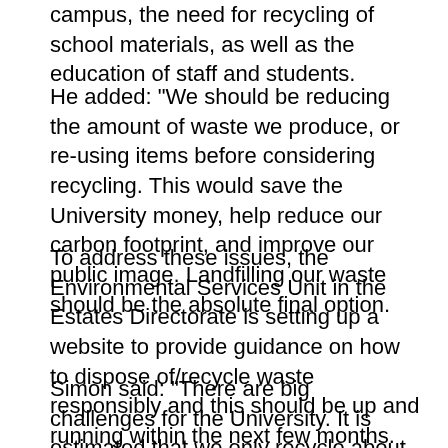campus, the need for recycling of school materials, as well as the education of staff and students.
He added: "We should be reducing the amount of waste we produce, or re-using items before considering recycling. This would save the University money, help reduce our carbon footprint, and improve our public image. Landfilling our waste should be the absolute final option.
To address these issues, the Environmental Services Unit in the Estates Directorate is setting up a website to provide guidance on how to dispose of/recycle waste responsibly and this should be up and running within the next few months.
Simon said: "There are big challenges for the University. It is estimated that we only recycle about 20% of our waste. Unfortunately we are some way behind other Universities who have had policies in place for more than a few years.